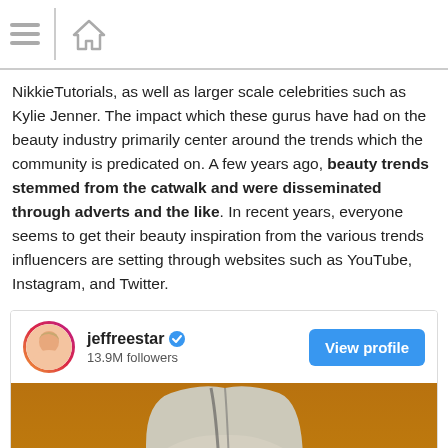[Navigation bar with hamburger menu and home icon]
NikkieTutorials, as well as larger scale celebrities such as Kylie Jenner. The impact which these gurus have had on the beauty industry primarily center around the trends which the community is predicated on. A few years ago, beauty trends stemmed from the catwalk and were disseminated through adverts and the like. In recent years, everyone seems to get their beauty inspiration from the various trends influencers are setting through websites such as YouTube, Instagram, and Twitter.
[Figure (screenshot): Instagram embed card for jeffreestar with 13.9M followers, View profile button, and photo of a blonde person with dramatic makeup against an orange background, with floating action buttons for comment and like.]